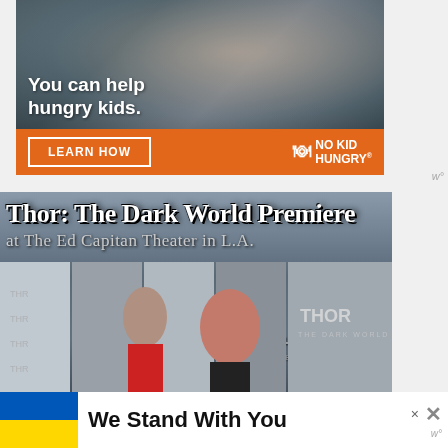[Figure (photo): No Kid Hungry advertisement showing a child eating, with orange bar at bottom containing 'LEARN HOW' button and No Kid Hungry logo. Text overlay reads 'You can help hungry kids.']
[Figure (photo): Thor: The Dark World Premiere at The Ed Capitan Theater in LA. Title text overlaid on a red carpet premiere photo with a smiling woman in front of Thor movie backdrop.]
[Figure (infographic): We Stand With You banner ad with Ukrainian flag colors (blue and yellow), close button X, and wordmark.]